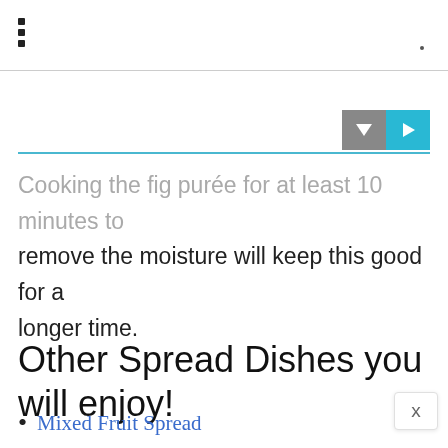Cooking the fig purée for at least 10 minutes to remove the moisture will keep this good for a longer time.
Other Spread Dishes you will enjoy!
Mixed Fruit Spread